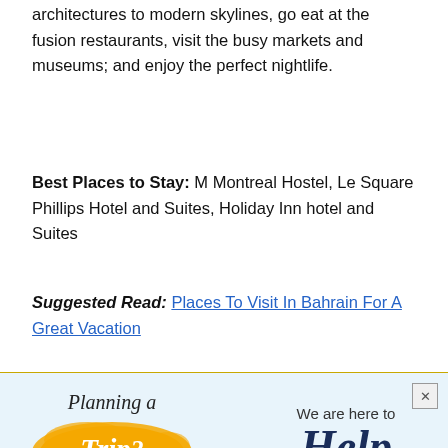architectures to modern skylines, go eat at the fusion restaurants, visit the busy markets and museums; and enjoy the perfect nightlife.
Best Places to Stay: M Montreal Hostel, Le Square Phillips Hotel and Suites, Holiday Inn hotel and Suites
Suggested Read: Places To Visit In Bahrain For A Great Vacation
[Figure (infographic): Travel advertisement banner with light blue background, orange blob with 'Trip?' text, planning a trip script text, 'We are here to Help' on the right, close button top right.]
Enquire now